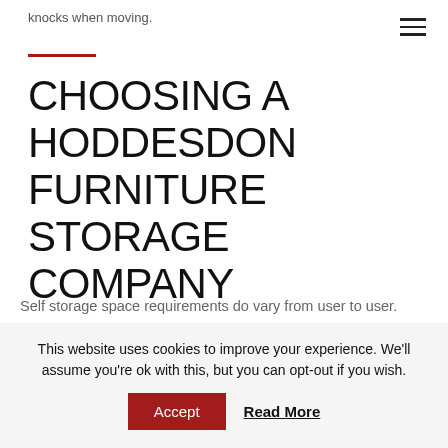knocks when moving.
CHOOSING A HODDESDON FURNITURE STORAGE COMPANY
Self storage space requirements do vary from user to user. Security Self Storage Waltham Cross has what you need for however long you need it. You will find the right size self storage space at a great price at Security Self Storage Waltham Cross.
This website uses cookies to improve your experience. We'll assume you're ok with this, but you can opt-out if you wish.
Accept    Read More